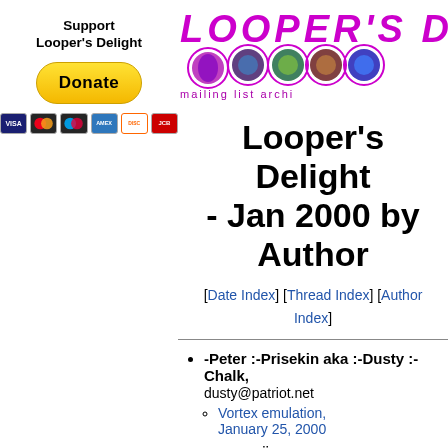Support Looper's Delight
[Figure (logo): Donate button with PayPal and credit card icons]
[Figure (logo): Looper's Delight mailing list archive logo with colorful circles]
Looper's Delight - Jan 2000 by Author
[Date Index] [Thread Index] [Author Index]
-Peter :-Prisekin aka :-Dusty :-Chalk, dusty@patriot.net
  Vortex emulation, January 25, 2000
Anders Östberg